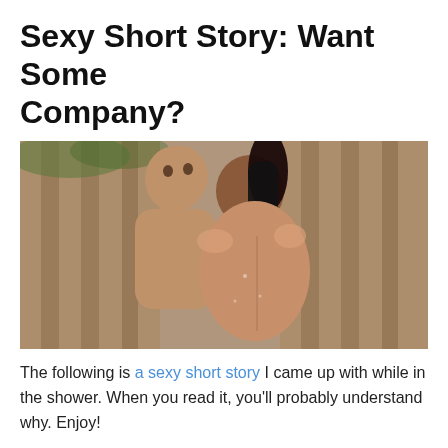Sexy Short Story: Want Some Company?
[Figure (photo): A couple embracing and kissing in a shower, with water droplets visible on the woman's back and a bamboo or wooden fence visible in the background.]
The following is a sexy short story I came up with while in the shower. When you read it, you'll probably understand why. Enjoy!